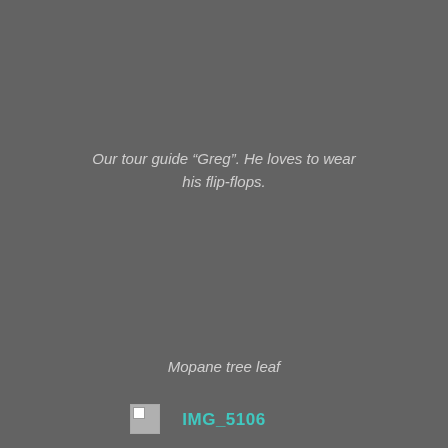Our tour guide “Greg”. He loves to wear his flip-flops.
Mopane tree leaf
IMG_5106